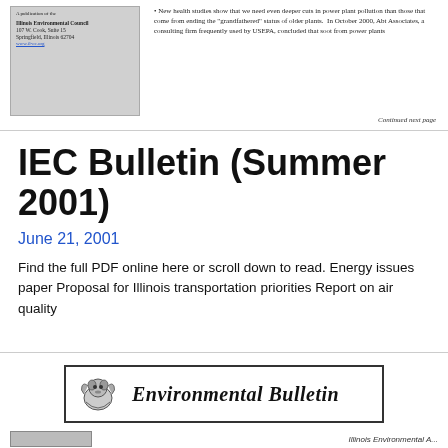[Figure (photo): Scanned newsletter header with Illinois Environmental Council logo and address details]
New health studies show that we need even deeper cuts in power plant pollution than those that come from ending the "grandfathered" status of older plants. In October 2000, Abt Associates, a consulting firm frequently used by USEPA, concluded that soot from power plants
Continued next page
IEC Bulletin (Summer 2001)
June 21, 2001
Find the full PDF online here or scroll down to read. Energy issues paper Proposal for Illinois transportation priorities Report on air quality
[Figure (logo): Environmental Bulletin header with raccoon/bird logo on left and italic bold text 'Environmental Bulletin' on right, inside a rectangular border]
[Figure (photo): Bottom strip with small image on left and partial text on right reading 'Illinois Environmental...']